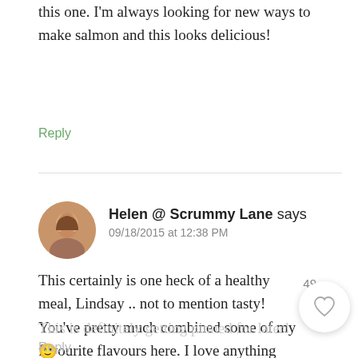this one. I'm always looking for new ways to make salmon and this looks delicious!
Reply
[Figure (photo): Circular avatar photo of Helen, a woman smiling]
Helen @ Scrummy Lane says 09/18/2015 at 12:38 PM
This certainly is one heck of a healthy meal, Lindsay .. not to mention tasty! You've pretty much combined some of my favourite flavours here. I love anything with cashews in, and salmon is a firm week-night favourite. So impressive that this can be on the ta in 30 minutes, too!
This is definitely getting pinned for later! 🙂
Reply